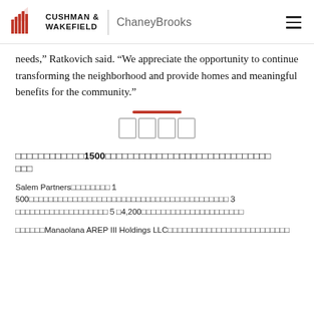Cushman & Wakefield | ChaneyBrooks
needs,” Ratkovich said. “We appreciate the opportunity to continue transforming the neighborhood and provide homes and meaningful benefits for the community.”
□□□□□□ 1500□□□□□□□□□□□□□□□□□□□□□□□□□□□□□
Salem Partners□□□□□□□□ 1500□□□□□□□□□□□□□□□□□□□□□□□□□□□□□□□□□□□ 3□□□□□□□□□□□□□□□ 5□ 4,200□□□□□□□□□□□□□□□□□□□□□
□□□□□□ Manaolana AREP III Holdings LLC□□□□□□□□□□□□□□□□□□□□□□□□□